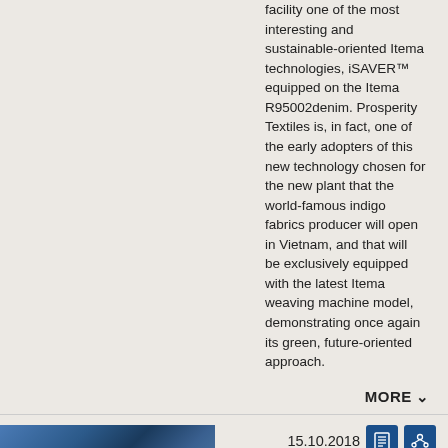facility one of the most interesting and sustainable-oriented Itema technologies, iSAVER™ equipped on the Itema R95002denim. Prosperity Textiles is, in fact, one of the early adopters of this new technology chosen for the new plant that the world-famous indigo fabrics producer will open in Vietnam, and that will be exclusively equipped with the latest Itema weaving machine model, demonstrating once again its green, future-oriented approach.
MORE ∨
15.10.2018
[Figure (photo): Group of people standing together at what appears to be a trade fair or exhibition, dark blue background]
VDMA: Original technology makes the difference
ITMA ASIA + CITME 2018, Asia's foremost trade fair dedicated to textile machinery, is once again marked by a significant presence of German companies both in their number and in the quality of their technology. Visitors to the fair will have an opportunity to appreciate the high level of technology being proposed by more than 100 exhibitors from Germany, including more than 80 VDMA member companies. They cover nearly all different machinery chapters with a focus on